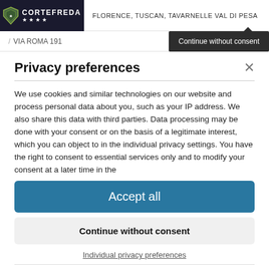[Figure (logo): Cortefreda hotel logo with shield and four stars on dark background]
FLORENCE, TUSCAN, TAVARNELLE VAL DI PESA
/ VIA ROMA 191
Continue without consent
Privacy preferences
We use cookies and similar technologies on our website and process personal data about you, such as your IP address. We also share this data with third parties. Data processing may be done with your consent or on the basis of a legitimate interest, which you can object to in the individual privacy settings. You have the right to consent to essential services only and to modify your consent at a later time in the
Accept all
Continue without consent
Individual privacy preferences
Privacy policy • Cookie Consent with Real Cookie Banner